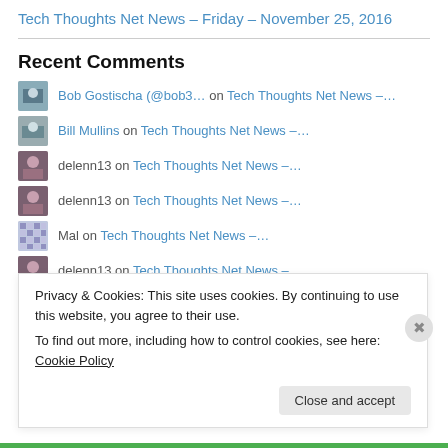Tech Thoughts Net News – Friday – November 25, 2016
Recent Comments
Bob Gostischa (@bob3… on Tech Thoughts Net News –…
Bill Mullins on Tech Thoughts Net News –…
delenn13 on Tech Thoughts Net News –…
delenn13 on Tech Thoughts Net News –…
Mal on Tech Thoughts Net News –…
delenn13 on Tech Thoughts Net News –…
Bill Mullins on Tech Thoughts Net News –…
Vince on Tech Thoughts Net News –…
Privacy & Cookies: This site uses cookies. By continuing to use this website, you agree to their use. To find out more, including how to control cookies, see here: Cookie Policy